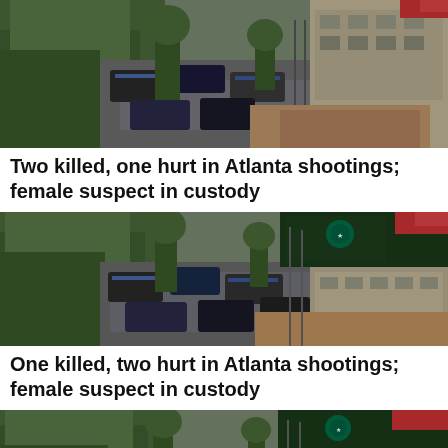[Figure (photo): Aerial/elevated view of an Atlanta street intersection with cars and police vehicles, trees on the left, commercial buildings on the right, wet pavement visible.]
Two killed, one hurt in Atlanta shootings; female suspect in custody
[Figure (photo): Aerial/elevated view of the same Atlanta street scene with police cars, Starbucks store visible, trees on left, modern commercial buildings on right.]
One killed, two hurt in Atlanta shootings; female suspect in custody
[Figure (photo): Aerial/elevated view of the same Atlanta street scene, partially cropped at bottom of page, similar angle showing police presence and Starbucks storefront.]